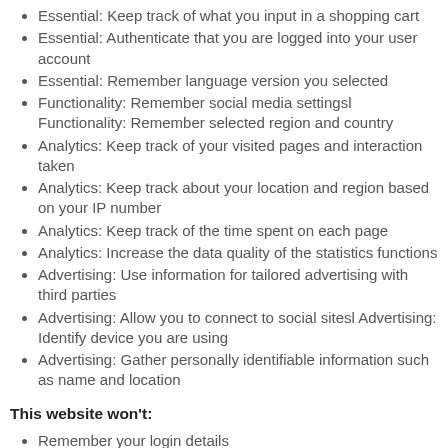Essential: Keep track of what you input in a shopping cart
Essential: Authenticate that you are logged into your user account
Essential: Remember language version you selected
Functionality: Remember social media settingsl Functionality: Remember selected region and country
Analytics: Keep track of your visited pages and interaction taken
Analytics: Keep track about your location and region based on your IP number
Analytics: Keep track of the time spent on each page
Analytics: Increase the data quality of the statistics functions
Advertising: Use information for tailored advertising with third parties
Advertising: Allow you to connect to social sitesl Advertising: Identify device you are using
Advertising: Gather personally identifiable information such as name and location
This website won't:
Remember your login details
Save & Close